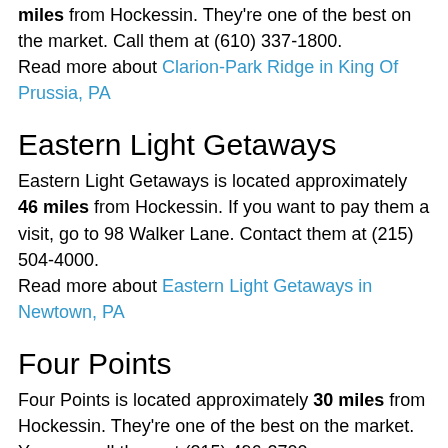miles from Hockessin. They're one of the best on the market. Call them at (610) 337-1800.
Read more about Clarion-Park Ridge in King Of Prussia, PA
Eastern Light Getaways
Eastern Light Getaways is located approximately 46 miles from Hockessin. If you want to pay them a visit, go to 98 Walker Lane. Contact them at (215) 504-4000.
Read more about Eastern Light Getaways in Newtown, PA
Four Points
Four Points is located approximately 30 miles from Hockessin. They're one of the best on the market. You can call them at (215) 496-2700.